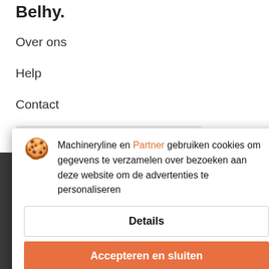Belhy.
Over ons
Help
Contact
Nederland / Nederlands
Onze portalen
Autoline
Machineryline
Agriline
Informatie
Privacybeleid
Machineryline en Partner gebruiken cookies om gegevens te verzamelen over bezoeken aan deze website om de advertenties te personaliseren
Details
Accepteren en sluiten